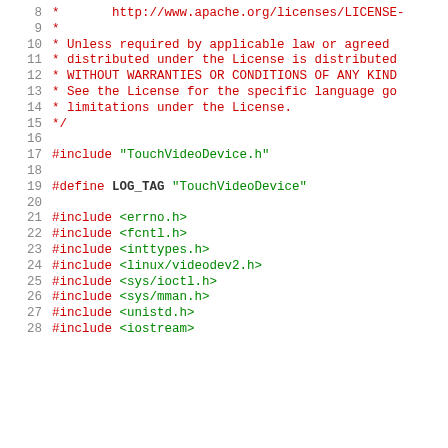Source code listing lines 8–28 of a C++ file (TouchVideoDevice.cpp), showing Apache license header and include directives.